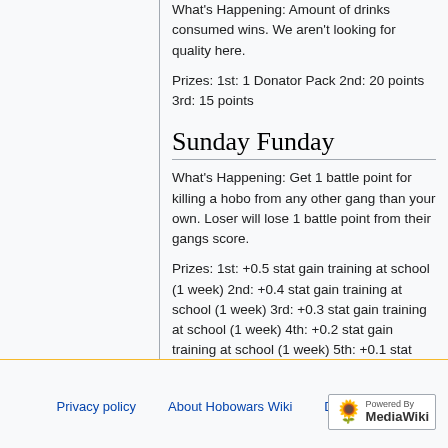What's Happening: Amount of drinks consumed wins. We aren't looking for quality here.
Prizes: 1st: 1 Donator Pack 2nd: 20 points 3rd: 15 points
Sunday Funday
What's Happening: Get 1 battle point for killing a hobo from any other gang than your own. Loser will lose 1 battle point from their gangs score.
Prizes: 1st: +0.5 stat gain training at school (1 week) 2nd: +0.4 stat gain training at school (1 week) 3rd: +0.3 stat gain training at school (1 week) 4th: +0.2 stat gain training at school (1 week) 5th: +0.1 stat gain training at school (1 week)
Privacy policy  About Hobowars Wiki  Disclaimers  Powered By MediaWiki